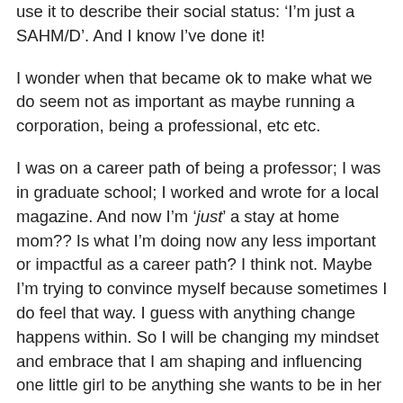use it to describe their social status: 'I'm just a SAHM/D'. And I know I've done it!

I wonder when that became ok to make what we do seem not as important as maybe running a corporation, being a professional, etc etc.

I was on a career path of being a professor; I was in graduate school; I worked and wrote for a local magazine. And now I'm 'just' a stay at home mom?? Is what I'm doing now any less important or impactful as a career path? I think not. Maybe I'm trying to convince myself because sometimes I do feel that way. I guess with anything change happens within. So I will be changing my mindset and embrace that I am shaping and influencing one little girl to be anything she wants to be in her life. I hope to empower her and give her the confidence to go